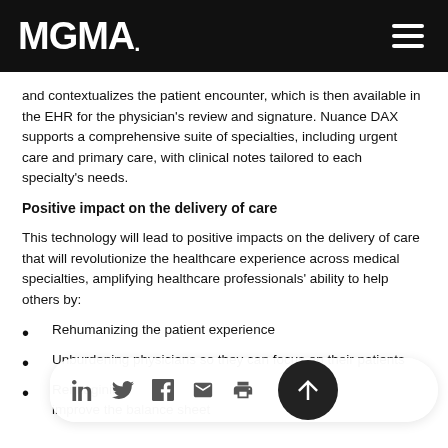MGMA.
and contextualizes the patient encounter, which is then available in the EHR for the physician's review and signature. Nuance DAX supports a comprehensive suite of specialties, including urgent care and primary care, with clinical notes tailored to each specialty's needs.
Positive impact on the delivery of care
This technology will lead to positive impacts on the delivery of care that will revolutionize the healthcare experience across medical specialties, amplifying healthcare professionals' ability to help others by:
Rehumanizing the patient experience
Unburdening physicians so they can focus on their patients
Reimagining ... improve the balance sheet